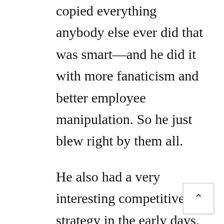copied everything anybody else ever did that was smart—and he did it with more fanaticism and better employee manipulation. So he just blew right by them all.
He also had a very interesting competitive strategy in the early days. He was like a prizefighter who wanted a great record so he could be in the finals and make a big TV hit. So what did he do? He went out and fought 42 palookas. Right? And the result was knockout, knockout, knockout—42 times.